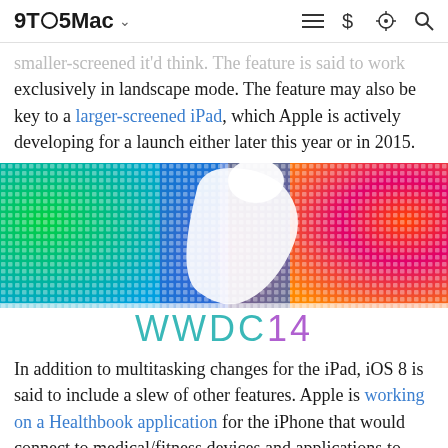9TO5Mac
smaller-screened it'd think. The feature is said to work exclusively in landscape mode. The feature may also be key to a larger-screened iPad, which Apple is actively developing for a launch either later this year or in 2015.
[Figure (illustration): WWDC14 Apple logo made of colorful dots gradient (green, blue, purple, pink, red, orange) with WWDC14 text below in teal/purple gradient]
In addition to multitasking changes for the iPad, iOS 8 is said to include a slew of other features. Apple is working on a Healthbook application for the iPhone that would connect to medical/fitness devices and applications to track points of